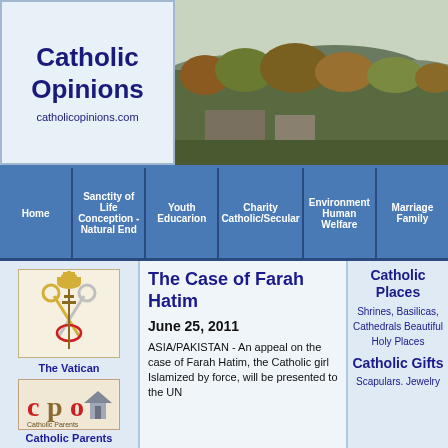Catholic Opinions
catholicopinions.com
[Figure (photo): Landscape photo of trees and hills with overcast sky]
[Figure (infographic): Navigation bar with menu items: Home, Sanctity of Life Conception - Natural End, Youth Educarion, Charity Catholic/Secular, Environment Human Welfare, Marriage Family]
[Figure (logo): Vatican papal coat of arms logo]
The Vatican
[Figure (logo): CPO Catholic Parents logo]
Catholic Parents
The Case of Farah Hatim
June 25, 2011
ASIA/PAKISTAN - An appeal on the case of Farah Hatim, the Catholic girl Islamized by force, will be presented to the UN
Catholic Places
Shrines, Basilicas, Cathedrals Beautiful Holy Places
Catholic Gifts
Scapulars. Jewelry